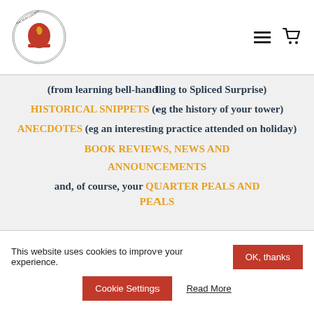[Figure (logo): The Kent County Association of Change Ringers circular logo with red bell and horse, 'INVICTA' text]
(from learning bell-handling to Spliced Surprise)
HISTORICAL SNIPPETS (eg the history of your tower)
ANECDOTES (eg an interesting practice attended on holiday)
BOOK REVIEWS, NEWS AND ANNOUNCEMENTS
and, of course, your QUARTER PEALS AND PEALS
This website uses cookies to improve your experience.
OK, thanks
Cookie Settings
Read More